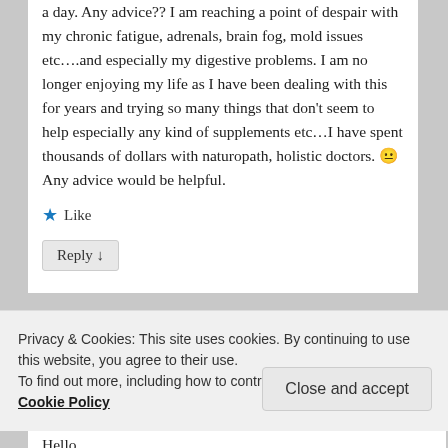a day. Any advice?? I am reaching a point of despair with my chronic fatigue, adrenals, brain fog, mold issues etc….and especially my digestive problems. I am no longer enjoying my life as I have been dealing with this for years and trying so many things that don't seem to help especially any kind of supplements etc…I have spent thousands of dollars with naturopath, holistic doctors. 😐 Any advice would be helpful.
★ Like
Reply ↓
Privacy & Cookies: This site uses cookies. By continuing to use this website, you agree to their use. To find out more, including how to control cookies, see here: Cookie Policy
Close and accept
Hello.